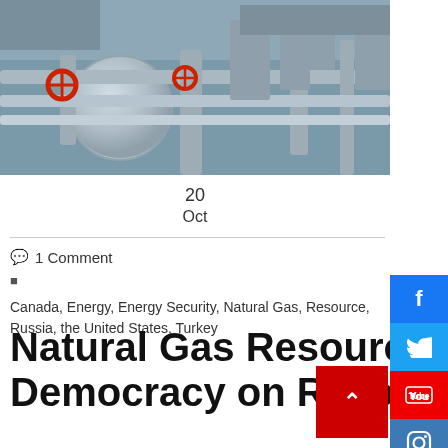[Figure (photo): Industrial natural gas pipeline facility with large spherical storage tanks, red valve wheels, and gray metal pipes against a factory backdrop]
20
Oct
1 Comment
Canada, Energy, Energy Security, Natural Gas, Resource, Russia, the United States, Turkey
Natural Gas Resources and the Effect of Democracy on Resource Sharing